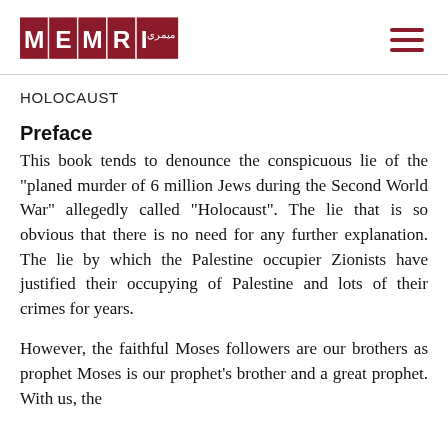MEMRI
HOLOCAUST
Preface
This book tends to denounce the conspicuous lie of the "planed murder of 6 million Jews during the Second World War" allegedly called "Holocaust". The lie that is so obvious that there is no need for any further explanation. The lie by which the Palestine occupier Zionists have justified their occupying of Palestine and lots of their crimes for years.
However, the faithful Moses followers are our brothers as prophet Moses is our prophet's brother and a great prophet. With us, the